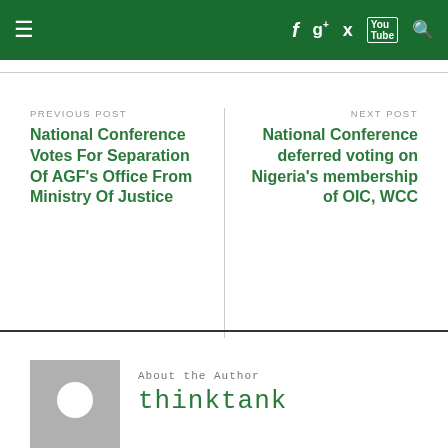Navigation bar with hamburger menu, f, g+, twitter, youtube, search icons
PREVIOUS POST
National Conference Votes For Separation Of AGF's Office From Ministry Of Justice
NEXT POST
National Conference deferred voting on Nigeria's membership of OIC, WCC
About the Author
thinktank